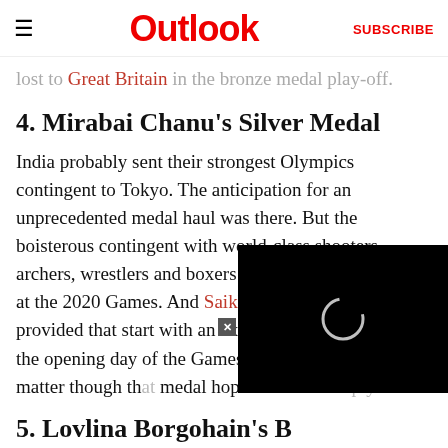≡  Outlook  SUBSCRIBE
lost to Great Britain in the bronze medal play-off.
4. Mirabai Chanu's Silver Medal
India probably sent their strongest Olympics contingent to Tokyo. The anticipation for an unprecedented medal haul was there. But the boisterous contingent with world-class shooters, archers, wrestlers and boxers still needed a good start at the 2020 Games. And Saikhom Mirabai Chanu provided that start with an exemplary performance on the opening day of the Games by win... another matter though th... medal hopes returned em...
5. Lovlina Borgohain's B